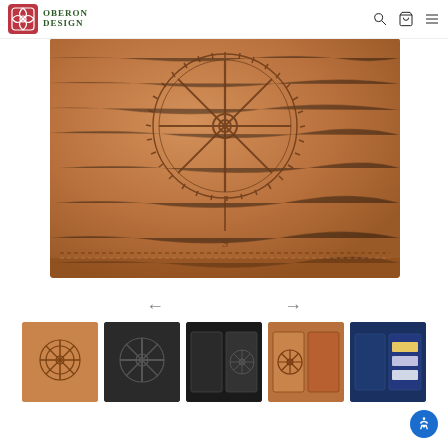Oberon Design
[Figure (photo): Close-up of a brown leather passport wallet/wallet with an embossed ship's wheel / compass rose design. The leather has a tan/cognac color with visible texture.]
[Figure (photo): Navigation arrows (left and right) for scrolling through product images]
[Figure (photo): Row of five product thumbnail images: (1) brown leather wallet with compass rose, (2) black leather wallet with ship wheel emboss, (3) black leather wallet open showing interior, (4) brown leather wallet open, (5) open wallet showing interior with cards/passport]